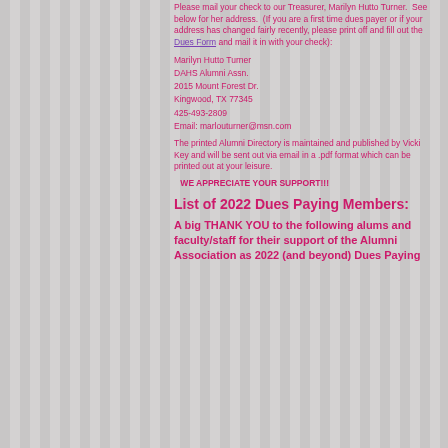Please mail your check to our Treasurer, Marilyn Hutto Turner. See below for her address. (If you are a first time dues payer or if your address has changed fairly recently, please print off and fill out the Dues Form and mail it in with your check):
Marilyn Hutto Turner
DAHS Alumni Assn.
2015 Mount Forest Dr.
Kingwood, TX 77345
425-493-2809
Email: marlouturner@msn.com
The printed Alumni Directory is maintained and published by Vicki Key and will be sent out via email in a .pdf format which can be printed out at your leisure.
WE APPRECIATE YOUR SUPPORT!!!
List of 2022 Dues Paying Members:
A big THANK YOU to the following alums and faculty/staff for their support of the Alumni Association as 2022 (and beyond) Dues Paying